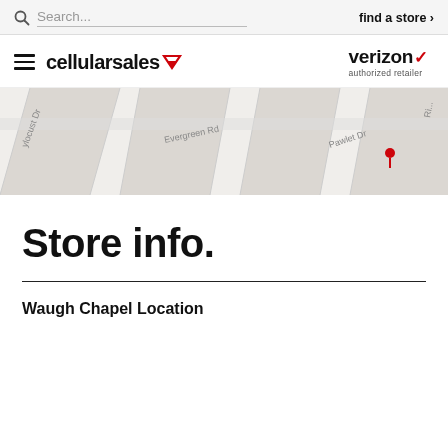Search... find a store >
[Figure (logo): Cellular Sales logo with hamburger menu icon and Verizon authorized retailer logo]
[Figure (map): Street map showing Evergreen Rd, Pawlet Dr, and Locust Dr area]
Store info.
Waugh Chapel Location